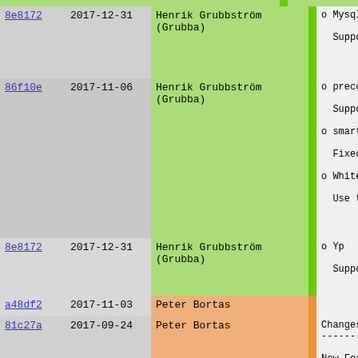| Hash | Date | Author |  | Changes |
| --- | --- | --- | --- | --- |
| 8e8172 | 2017-12-31 | Henrik Grubbström (Grubba) |  | o Mysql

  Support Ma |
| 86f10e | 2017-11-06 | Henrik Grubbström (Grubba) |  | o precompile

  Support pr

o smartlink

  Fixed mult

o Whitefish

  Use the st |
| 8e8172 | 2017-12-31 | Henrik Grubbström (Grubba) |  | o Yp

  Support us |
| a48df2 | 2017-11-03 | Peter Bortas |  |  |
| 81c27a | 2017-09-24 | Peter Bortas |  | Changes sinc
------------

New Features
------------ |